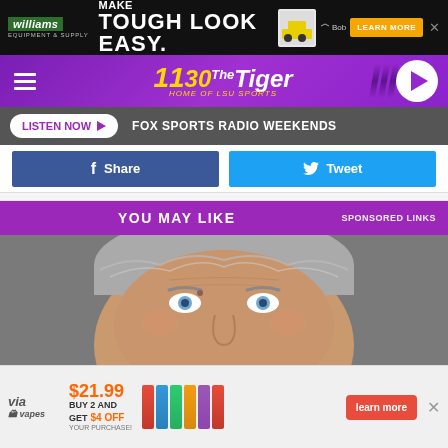[Figure (screenshot): Williams Equipment & Supply advertisement banner with 'MAKE TOUGH LOOK EASY' text and Bobcat machinery, Learn More button]
[Figure (logo): 1130 The Tiger radio station logo - Home of LSU Sports, purple background with hamburger menu and play button]
LISTEN NOW ▶  FOX SPORTS RADIO WEEKENDS
f  Share    🐦  Tweet
YOU MAY LIKE
SPONSORED LINKS
[Figure (photo): Close-up photo of an elderly man's face with grey hair and blue eyes]
[Figure (screenshot): Via Vapes advertisement: $21.99 Buy 2 and Get $4 Off Your Purchase! with Learn More button]